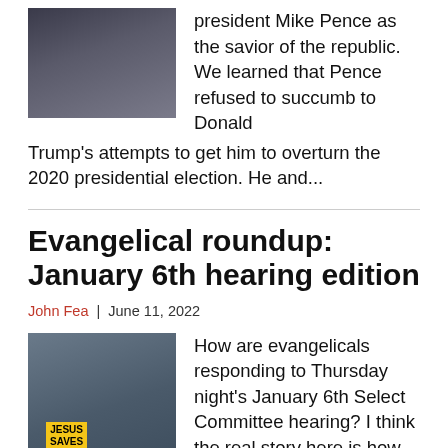[Figure (photo): Photo of a man in a dark suit and tie, partial figure, against dark background]
president Mike Pence as the savior of the republic. We learned that Pence refused to succumb to Donald Trump's attempts to get him to overturn the 2020 presidential election. He and...
Evangelical roundup: January 6th hearing edition
John Fea  |  June 11, 2022
[Figure (photo): Photo of protesters at the US Capitol, one holding a yellow sign reading JESUS SAVES]
How are evangelicals responding to Thursday night's January 6th Select Committee hearing? I think the real story here is how many public evangelicals said nothing so far, I am